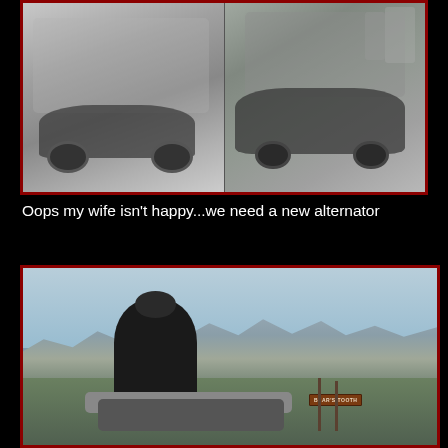[Figure (photo): Two black and white photos side by side in a dark red bordered frame. Left: a classic Corvette sports car parked in front of a garage. Right: the same or similar Corvette with its hood open, a person leaning over it, on a roadside with road signs visible in the background.]
Oops my wife isn't happy...we need a new alternator
[Figure (photo): Color photo of a man in sunglasses and dark jacket sitting on a motorcycle at a high mountain overlook. Snow-capped mountain range visible in the background. A wooden 'Bear's Tooth' sign is visible in the lower right area of the photo.]